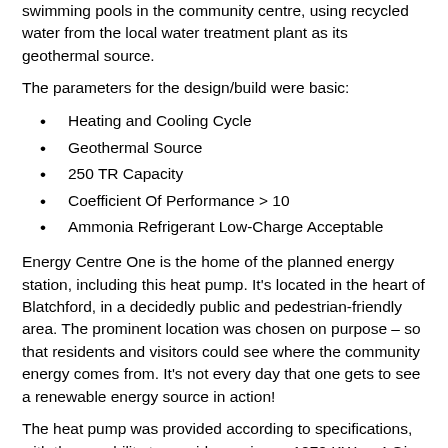swimming pools in the community centre, using recycled water from the local water treatment plant as its geothermal source.
The parameters for the design/build were basic:
Heating and Cooling Cycle
Geothermal Source
250 TR Capacity
Coefficient Of Performance > 10
Ammonia Refrigerant Low-Charge Acceptable
Energy Centre One is the home of the planned energy station, including this heat pump. It's located in the heart of Blatchford, in a decidedly public and pedestrian-friendly area. The prominent location was chosen on purpose – so that residents and visitors could see where the community energy comes from. It's not every day that one gets to see a renewable energy source in action!
The heat pump was provided according to specifications, with the capability to provide maximum 1070 KW or 4 Giga Joules of heat based on a geothermal flow rate of 780 us gpm or seasonal cooling of 3120 MBH at full capacity.